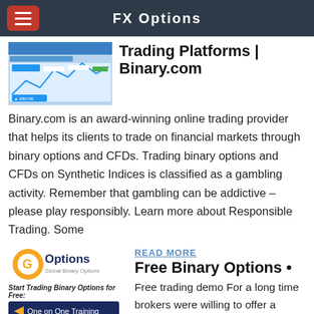FX Options
Trading Platforms | Binary.com
Binary.com is an award-winning online trading provider that helps its clients to trade on financial markets through binary options and CFDs. Trading binary options and CFDs on Synthetic Indices is classified as a gambling activity. Remember that gambling can be addictive – please play responsibly. Learn more about Responsible Trading. Some
[Figure (screenshot): Screenshot of Binary.com trading platform interface]
[Figure (logo): GOoptions Global Binary Options logo with orange G and blue text]
Start Trading Binary Options for Free:
READ MORE
Free Binary Options •
Free trading demo For a long time brokers were willing to offer a demo account only to those customers who opened a real account and deposited money first. This was a little bit inconvenient because you could not